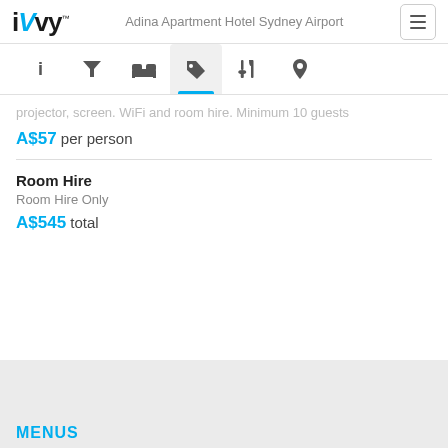iVvy™ — Adina Apartment Hotel Sydney Airport
projector, screen. WiFi and room hire. Minimum 10 guests
A$57 per person
Room Hire
Room Hire Only
A$545 total
MENUS